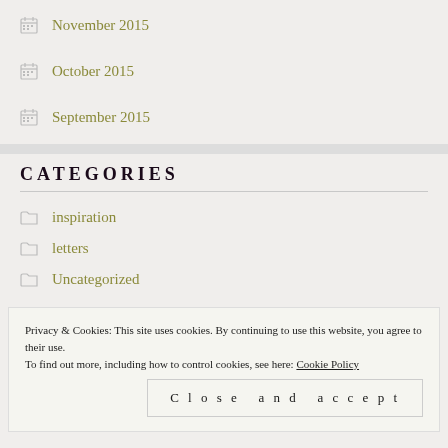November 2015
October 2015
September 2015
CATEGORIES
inspiration
letters
Uncategorized
Privacy & Cookies: This site uses cookies. By continuing to use this website, you agree to their use.
To find out more, including how to control cookies, see here: Cookie Policy
Close and accept